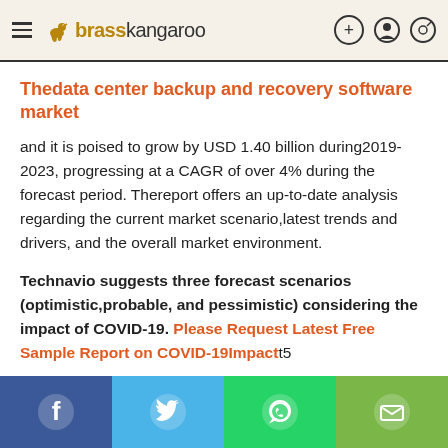brasskangaroo
Thedata center backup and recovery software market
and it is poised to grow by USD 1.40 billion during2019-2023, progressing at a CAGR of over 4% during the forecast period. Thereport offers an up-to-date analysis regarding the current market scenario,latest trends and drivers, and the overall market environment.
Technavio suggests three forecast scenarios (optimistic,probable, and pessimistic) considering the impact of COVID-19. Please Request Latest Free Sample Report on COVID-19Impactt5
Social share bar: Facebook, Twitter, WhatsApp, Email